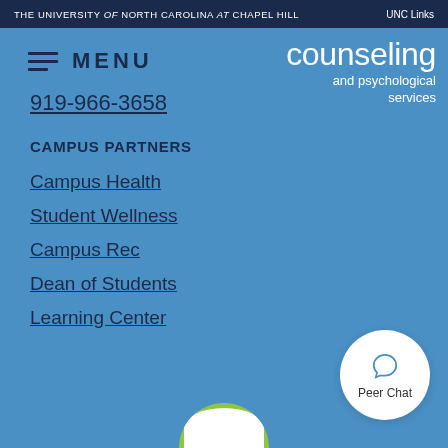THE UNIVERSITY of NORTH CAROLINA at CHAPEL HILL | UNC Links
[Figure (logo): Counseling and psychological services logo in white handwritten script on blue background]
MENU
919-966-3658
CAMPUS PARTNERS
Campus Health
Student Wellness
Campus Rec
Dean of Students
Learning Center
[Figure (infographic): Peer Chat button - white circle with chat bubble icon and text 'Peer Chat']
[Figure (illustration): Partial green and white circle at bottom center of page]